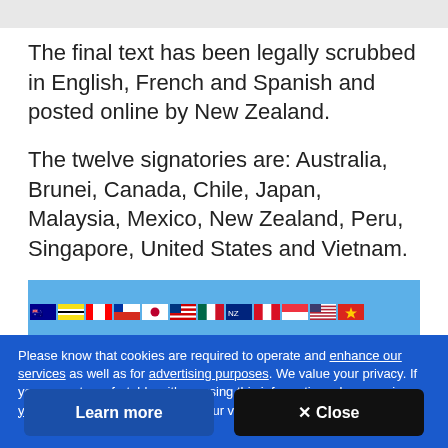The final text has been legally scrubbed in English, French and Spanish and posted online by New Zealand.
The twelve signatories are: Australia, Brunei, Canada, Chile, Japan, Malaysia, Mexico, New Zealand, Peru, Singapore, United States and Vietnam.
[Figure (photo): A row of national flags of the twelve TPP signatory countries on a blue background.]
Please know that cookies are required to operate and enhance our services as well as for advertising purposes. We value your privacy. If you are not comfortable with us using this information, please review your settings before continuing your visit.
Learn more
✕ Close